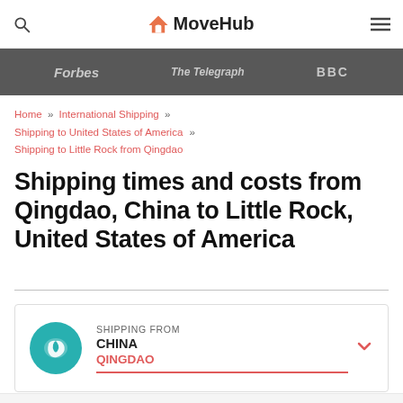MoveHub
[Figure (other): Dark media bar showing Forbes, The Telegraph, BBC logos]
Home » International Shipping » Shipping to United States of America » Shipping to Little Rock from Qingdao
Shipping times and costs from Qingdao, China to Little Rock, United States of America
SHIPPING FROM CHINA QINGDAO